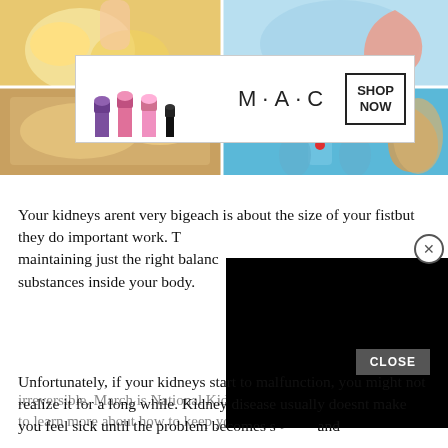[Figure (photo): Top image grid: four photos showing food/lemons (top-left), kidney anatomy diagram (top-right), wooden cutting board with food (bottom-left), blue medical illustration with hands and kidney organ (bottom-right). A MAC cosmetics advertisement banner overlays the center.]
Your kidneys arent very bigeach is about the size of your fistbut they do important work. They are responsible for maintaining just the right balance of water and many substances inside your body.
Unfortunately, if your kidneys start to malfunction, you might not realize it for a long while. Kidney disease usually doesnt make you feel sick until the problem becomes serious and irreversible. March is National Kidney Month, a perfect time to learn more about how to keep your kidneys healthy and